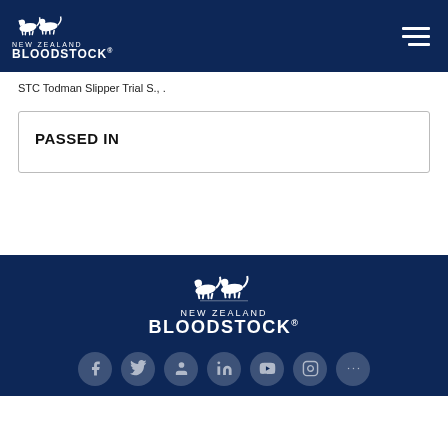NEW ZEALAND BLOODSTOCK
STC Todman Slipper Trial S., .
PASSED IN
[Figure (logo): New Zealand Bloodstock logo with two galloping horses, centered on dark navy background, with text NEW ZEALAND BLOODSTOCK below]
Social media icons row